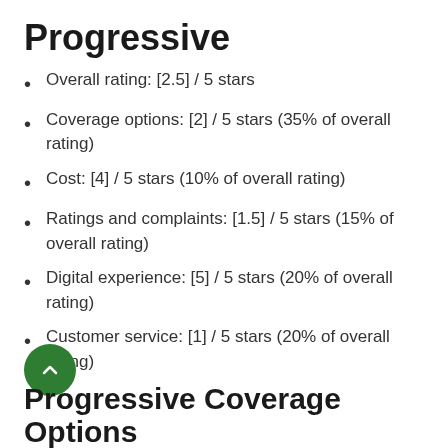Progressive
Overall rating: [2.5] / 5 stars
Coverage options: [2] / 5 stars (35% of overall rating)
Cost: [4] / 5 stars (10% of overall rating)
Ratings and complaints: [1.5] / 5 stars (15% of overall rating)
Digital experience: [5] / 5 stars (20% of overall rating)
Customer service: [1] / 5 stars (20% of overall rating)
Progressive Coverage Options